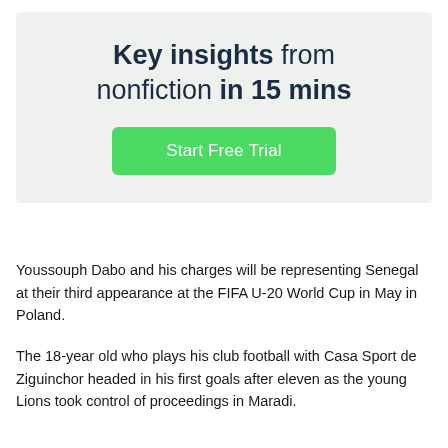[Figure (infographic): Promotional banner with light gray background showing the text 'Key insights from nonfiction in 15 mins' and a green 'Start Free Trial' button]
Youssouph Dabo and his charges will be representing Senegal at their third appearance at the FIFA U-20 World Cup in May in Poland.
The 18-year old who plays his club football with Casa Sport de Ziguinchor headed in his first goals after eleven as the young Lions took control of proceedings in Maradi.